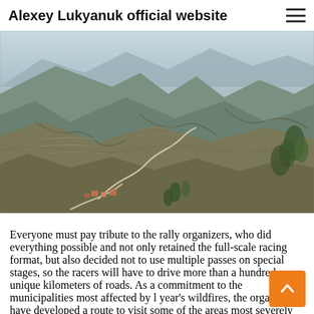Alexey Lukyanuk official website
[Figure (photo): Aerial landscape photograph of rugged mountain terrain with winding roads, terraced hillsides, sparse vegetation, and a small village settlement visible at the base of the mountains.]
Everyone must pay tribute to the rally organizers, who did everything possible and not only retained the full-scale racing format, but also decided not to use multiple passes on special stages, so the racers will have to drive more than a hundred unique kilometers of roads. As a commitment to the municipalities most affected by last year's wildfires, the organizers have developed a route to visit some of the areas most severely hit. As a